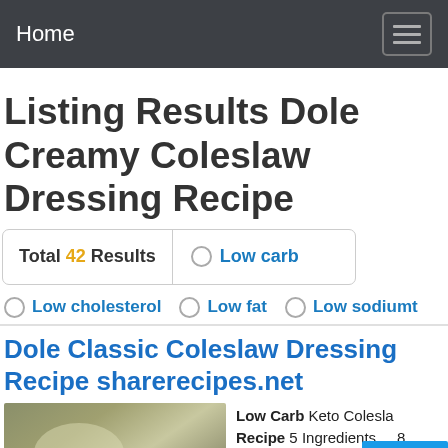Home
Listing Results Dole Creamy Coleslaw Dressing Recipe
Total 42 Results  ○ Low carb
○ Low cholesterol  ○ Low fat  ○ Low sodiumt
Dole Classic Coleslaw Dressing Recipe sharerecipes.net
Low Carb Keto Coleslaw Recipe 5 Ingredients ... 8